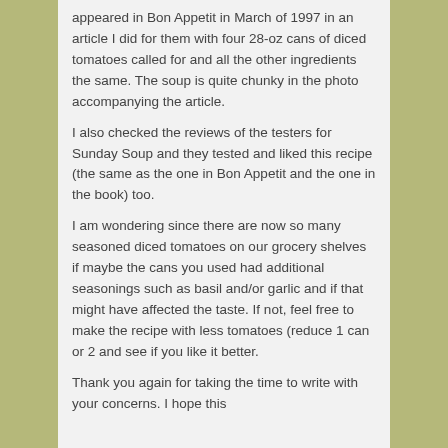appeared in Bon Appetit in March of 1997 in an article I did for them with four 28-oz cans of diced tomatoes called for and all the other ingredients the same. The soup is quite chunky in the photo accompanying the article.
I also checked the reviews of the testers for Sunday Soup and they tested and liked this recipe (the same as the one in Bon Appetit and the one in the book) too.
I am wondering since there are now so many seasoned diced tomatoes on our grocery shelves if maybe the cans you used had additional seasonings such as basil and/or garlic and if that might have affected the taste. If not, feel free to make the recipe with less tomatoes (reduce 1 can or 2 and see if you like it better.
Thank you again for taking the time to write with your concerns. I hope this